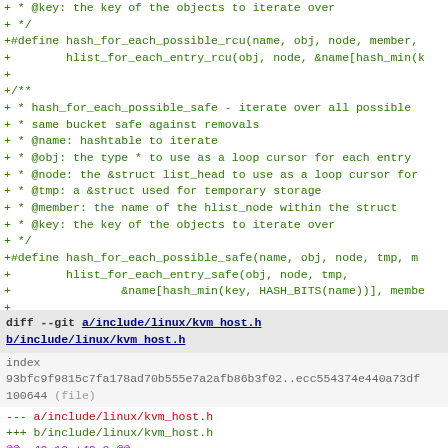Code diff showing hash_for_each_possible_rcu and hash_for_each_possible_safe macro definitions, followed by a diff header for a/include/linux/kvm_host.h and b/include/linux/kvm_host.h with hunk starting at @@ -42,19 +42,8 @@